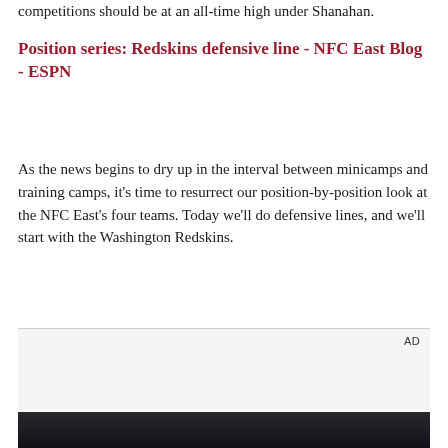competitions should be at an all-time high under Shanahan.
Position series: Redskins defensive line - NFC East Blog - ESPN
As the news begins to dry up in the interval between minicamps and training camps, it's time to resurrect our position-by-position look at the NFC East's four teams. Today we'll do defensive lines, and we'll start with the Washington Redskins.
[Figure (other): Advertisement placeholder box with 'AD' label in top-right corner, light gray background]
[Figure (photo): Dark photograph showing a person inside a vehicle, partially visible, holding or looking at a phone]